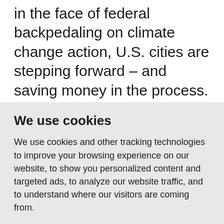in the face of federal backpedaling on climate change action, U.S. cities are stepping forward – and saving money in the process.
"We know in cities we can use our procurement power, our power in building codes and our bully pulpit to say we must
We use cookies
We use cookies and other tracking technologies to improve your browsing experience on our website, to show you personalized content and targeted ads, to analyze our website traffic, and to understand where our visitors are coming from.